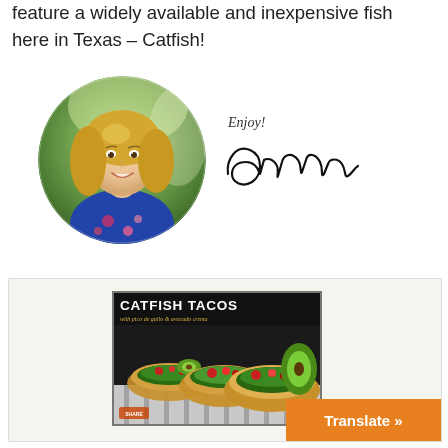feature a widely available and inexpensive fish here in Texas – Catfish!
[Figure (photo): Circular portrait photo of a smiling blonde woman in a blue floral top, outdoors]
Enjoy!
[Figure (illustration): Handwritten signature reading 'Odessa']
[Figure (photo): Recipe card image showing Catfish Tacos with pico de gallo and avocado crema – tacos topped with guacamole and salsa on a dark background]
Translate »